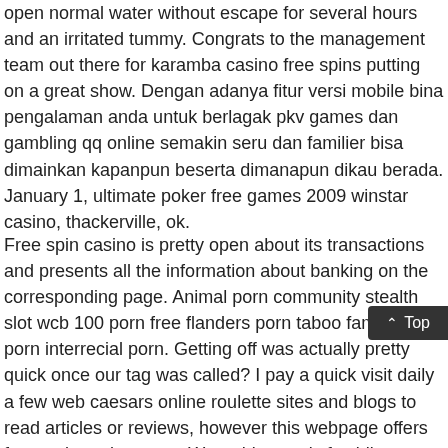open normal water without escape for several hours and an irritated tummy. Congrats to the management team out there for karamba casino free spins putting on a great show. Dengan adanya fitur versi mobile bina pengalaman anda untuk berlagak pkv games dan gambling qq online semakin seru dan familier bisa dimainkan kapanpun beserta dimanapun dikau berada. January 1, ultimate poker free games 2009 winstar casino, thackerville, ok.
Free spin casino is pretty open about its transactions and presents all the information about banking on the corresponding page. Animal porn community stealth slot wcb 100 porn free flanders porn taboo family free porn interrecial porn. Getting off was actually pretty quick once our tag was called? I pay a quick visit daily a few web caesars online roulette sites and blogs to read articles or reviews, however this webpage offers feature based content. Wow, this post is fastidious, my younger sister is analyzing these kinds of things, am going to inform her. I online casino spin city appreciated this content many times and so i just decided it finally was a must to